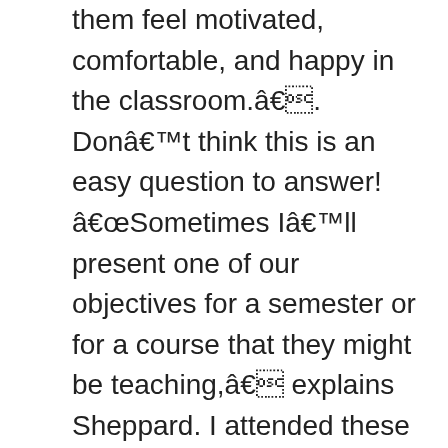them feel motivated, comfortable, and happy in the classroom.â. Donât think this is an easy question to answer! âSometimes Iâll present one of our objectives for a semester or for a course that they might be teaching,â explains Sheppard. I attended these sessions regularly. In order to get an idea of a candidate's writing skills, principal Betty Peltier sets aside time to get a writing sample from a candidate. During the summer, I am the director of a theater camp offered by the art center in town. It doesnât matter how extensive your learning is. To help you prepare, check out these common teaching interview questions youâre bound to encounterâand tips for answering them. Why